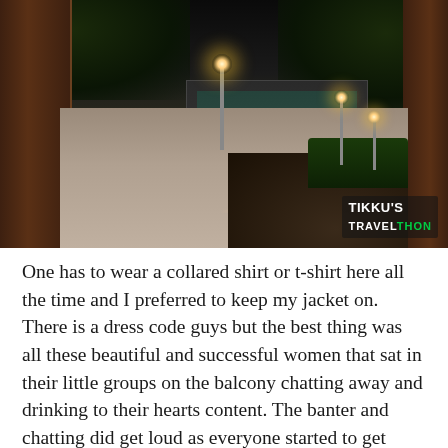[Figure (photo): Night-time photograph of a park or club grounds with large trees on left and right, a wide paved pathway in the center, street lamps illuminating the scene, green fencing, low red boundary walls, manicured hedges on right, a building with lit windows in the background, and a watermark reading TIKKUS TRAVELTHON in the bottom right corner.]
One has to wear a collared shirt or t-shirt here all the time and I preferred to keep my jacket on. There is a dress code guys but the best thing was all these beautiful and successful women that sat in their little groups on the balcony chatting away and drinking to their hearts content. The banter and chatting did get loud as everyone started to get drunk by dinner time.